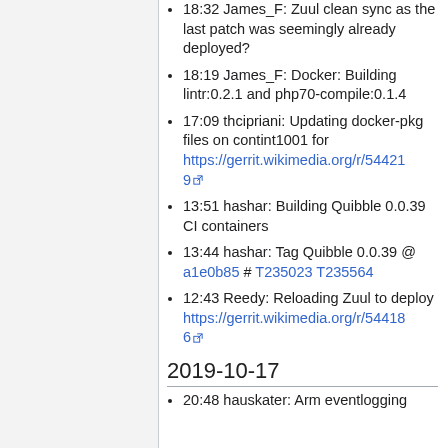18:32 James_F: Zuul clean sync as the last patch was seemingly already deployed?
18:19 James_F: Docker: Building lintr:0.2.1 and php70-compile:0.1.4
17:09 thcipriani: Updating docker-pkg files on contint1001 for https://gerrit.wikimedia.org/r/544219
13:51 hashar: Building Quibble 0.0.39 CI containers
13:44 hashar: Tag Quibble 0.0.39 @ a1e0b85 # T235023 T235564
12:43 Reedy: Reloading Zuul to deploy https://gerrit.wikimedia.org/r/544186
2019-10-17
20:48 hauskater: Arm eventlogging